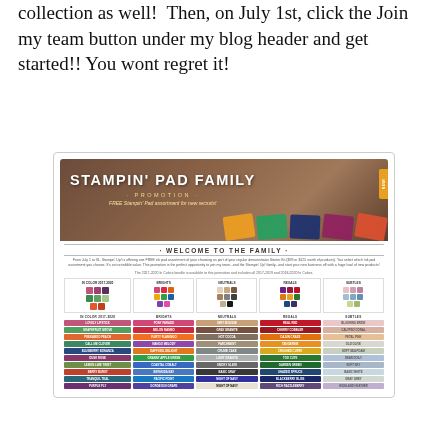collection as well!  Then, on July 1st, click the Join my team button under my blog header and get started!! You wont regret it!
[Figure (infographic): Stampin' Pad Family Promotion flyer showing ink pad assortment for new recruits, with color swatches for In Color 2017-2020, Brights, Neutrals, Regals, and Subtles, along with color name labels.]